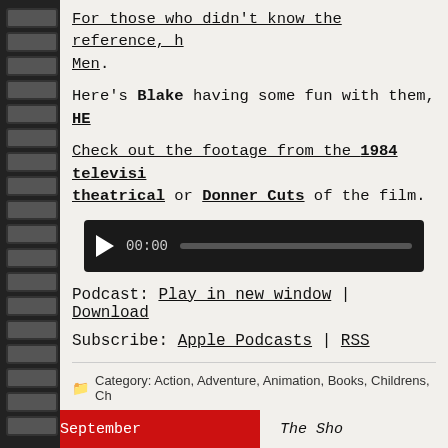For those who didn't know the reference, h... Men.
Here's Blake having some fun with them, HE...
Check out the footage from the 1984 televisi... theatrical or Donner Cuts of the film.
[Figure (other): Audio player widget with play button showing 00:00 and a progress bar]
Podcast: Play in new window | Download
Subscribe: Apple Podcasts | RSS
Category: Action, Adventure, Animation, Books, Childrens, Ch...
September ... The Sho...